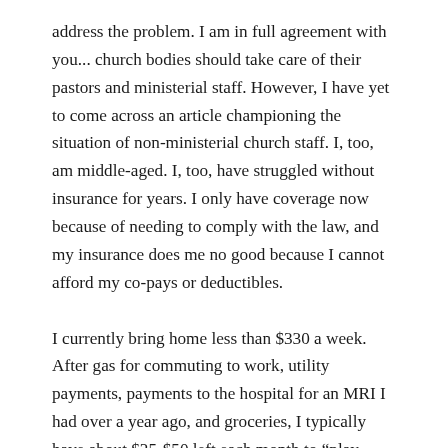address the problem. I am in full agreement with you... church bodies should take care of their pastors and ministerial staff. However, I have yet to come across an article championing the situation of non-ministerial church staff. I, too, am middle-aged. I, too, have struggled without insurance for years. I only have coverage now because of needing to comply with the law, and my insurance does me no good because I cannot afford my co-pays or deductibles.
I currently bring home less than $330 a week. After gas for commuting to work, utility payments, payments to the hospital for an MRI I had over a year ago, and groceries, I typically have about $25-$50 left each month to “play with”. I have a leak in my roof, my car needs repairs, and I've been wearing the same clothes to work for 4 years. I am on my father's cell phone plan,